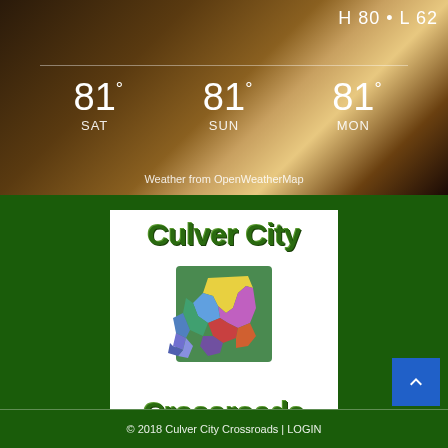[Figure (screenshot): Weather widget screenshot showing H 80 · L 62 in top right, with temperatures for SAT 81°, SUN 81°, MON 81° over a bokeh background, and 'Weather from OpenWeatherMap' credit at bottom]
[Figure (logo): Culver City Crossroads logo on white background — green stylized text 'Culver City' on top, colorful map graphic of Culver City neighborhoods in center, green 'Crossroads' text below, tagline 'Where the People Meet the City' in dark green bold text]
© 2018 Culver City Crossroads | LOGIN